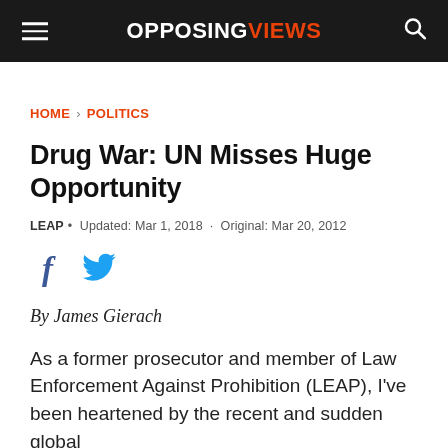OPPOSINGVIEWS
HOME › POLITICS
Drug War: UN Misses Huge Opportunity
LEAP • Updated: Mar 1, 2018 · Original: Mar 20, 2012
[Figure (other): Facebook and Twitter social share icons]
By James Gierach
As a former prosecutor and member of Law Enforcement Against Prohibition (LEAP), I've been heartened by the recent and sudden global